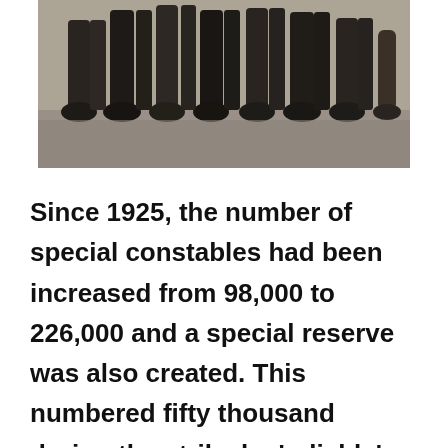[Figure (photo): Black and white historical photograph showing the lower legs and boots of a group of people standing in a row, cropped at approximately knee height.]
Since 1925, the number of special constables had been increased from 98,000 to 226,000 and a special reserve was also created. This numbered fifty thousand during the strike by 'reliable' volunteers from the universities, the